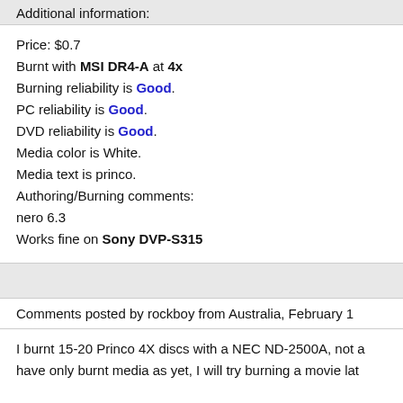Additional information:
Price: $0.7
Burnt with MSI DR4-A at 4x
Burning reliability is Good.
PC reliability is Good.
DVD reliability is Good.
Media color is White.
Media text is princo.
Authoring/Burning comments:
nero 6.3
Works fine on Sony DVP-S315
Comments posted by rockboy from Australia, February 1
I burnt 15-20 Princo 4X discs with a NEC ND-2500A, not a have only burnt media as yet, I will try burning a movie lat
Also, the ND-2500A will only let me burn at 4X, I think the